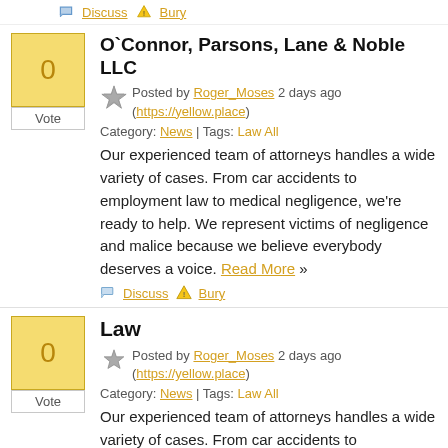Discuss   Bury
O`Connor, Parsons, Lane & Noble LLC
Posted by Roger_Moses 2 days ago (https://yellow.place)
Category: News | Tags: Law All
Our experienced team of attorneys handles a wide variety of cases. From car accidents to employment law to medical negligence, we're ready to help. We represent victims of negligence and malice because we believe everybody deserves a voice. Read More »
Discuss   Bury
Law
Posted by Roger_Moses 2 days ago (https://yellow.place)
Category: News | Tags: Law All
Our experienced team of attorneys handles a wide variety of cases. From car accidents to employment